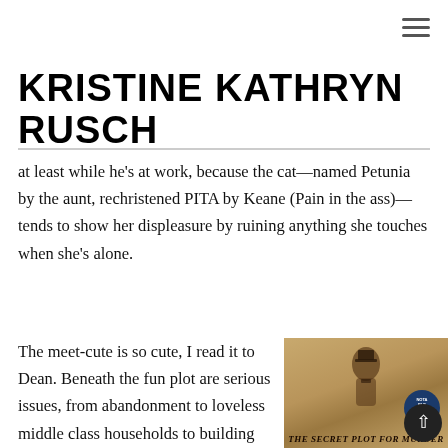[Figure (other): Hamburger menu icon (three horizontal lines) in top right corner]
KRISTINE KATHRYN RUSCH
at least while he's at work, because the cat—named Petunia by the aunt, rechristened PITA by Keane (Pain in the ass)—tends to show her displeasure by ruining anything she touches when she's alone.
The meet-cute is so cute, I read it to Dean. Beneath the fun plot are serious issues, from abandonment to loveless middle class households to building your own family. I was halfway done with the book when I ordered the rest in the Heartbreaker Bay
[Figure (photo): Book cover of 'The Secret Plot for Murder' featuring a portrait of Abraham Lincoln with a blue notable book badge in the corner]